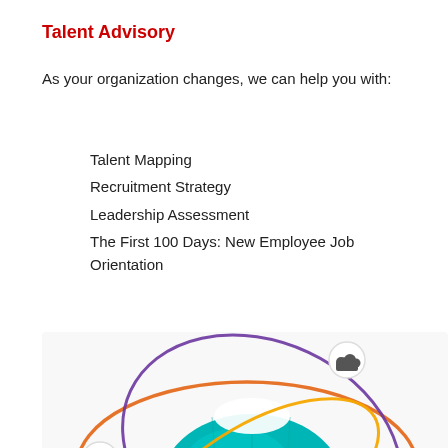Talent Advisory
As your organization changes, we can help you with:
Talent Mapping
Recruitment Strategy
Leadership Assessment
The First 100 Days: New Employee Job Orientation
[Figure (illustration): Illustration of a stylized globe with orbital rings in orange, purple, and yellow, with small icon spheres (cloud, share, music, infinity symbol) orbiting around a teal/turquoise Earth globe.]